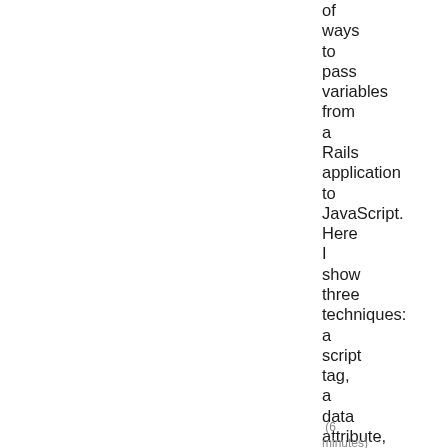of ways to pass variables from a Rails application to JavaScript. Here I show three techniques: a script tag, a data attribute, and the Gon gem.
(6 minutes)